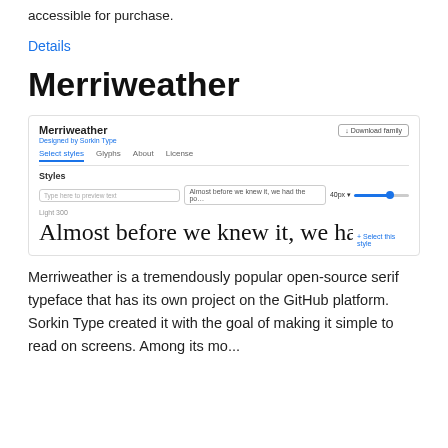accessible for purchase.
Details
Merriweather
[Figure (screenshot): Screenshot of the Google Fonts page for Merriweather, showing font name, designer (Sorkin Type), tabs (Select styles, Glyphs, About, License), Styles section with text input showing 'Almost before we knew it, we had' and a size slider, Light 300 style preview showing 'Almost before we knew it, we had' in large serif text, and a Download family button.]
Merriweather is a tremendously popular open-source serif typeface that has its own project on the GitHub platform. Sorkin Type created it with the goal of making it simple to read on screens. Among its mo...